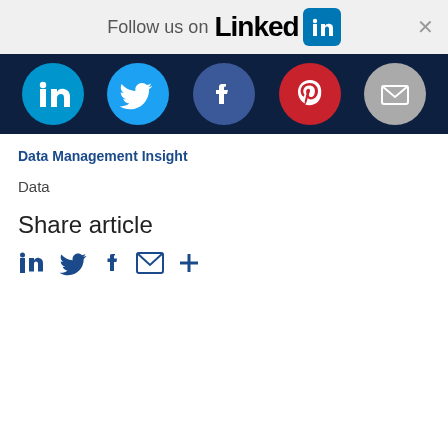[Figure (infographic): LinkedIn follow banner with LinkedIn logo and close button]
[Figure (infographic): Social media icons bar showing LinkedIn, Twitter, Facebook, Pinterest, and Email icons on dark navy background]
Data Management Insight
Data
Share article
[Figure (infographic): Share article social icons: LinkedIn, Twitter, Facebook, Email, and plus sign]